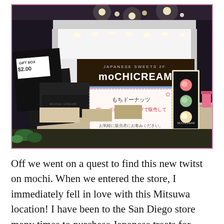[Figure (photo): A Mochi Cream Japanese Sweets store display booth with a lit white counter, signage reading 'JAPANESE SWEETS 2F MOCHICREAM', black gift boxes labeled 'GIFT BOX $2.00', a Japanese sign for mochi donuts with 30% off text, and a product display board showing colorful mochi sweets.]
Off we went on a quest to find this new twitst on mochi. When we entered the store, I immediately fell in love with this Mitsuwa location! I have been to the San Diego store many times to purchase Japanese treats for video reviews, but the Costa Mesa location is much larger! They